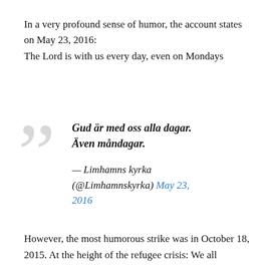In a very profound sense of humor, the account states on May 23, 2016:
The Lord is with us every day, even on Mondays
[Figure (illustration): Large decorative closing quotation mark in light grey]
Gud är med oss alla dagar. Även måndagar.
— Limhamns kyrka (@Limhamnskyrka) May 23, 2016
However, the most humorous strike was in October 18, 2015. At the height of the refugee crisis: We all